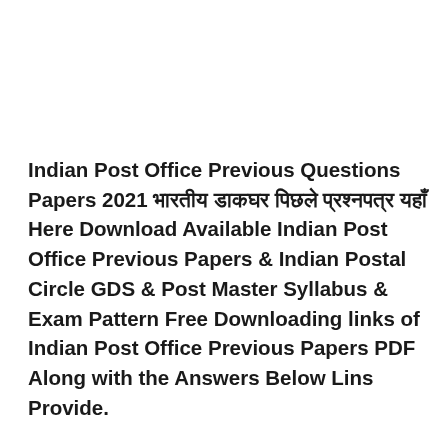Indian Post Office Previous Questions Papers 2021 भारतीय डाकघर पिछले प्रश्नपत्र यहाँ Here Download Available Indian Post Office Previous Papers & Indian Postal Circle GDS & Post Master Syllabus & Exam Pattern Free Downloading links of Indian Post Office Previous Papers PDF Along with the Answers Below Lins Provide.